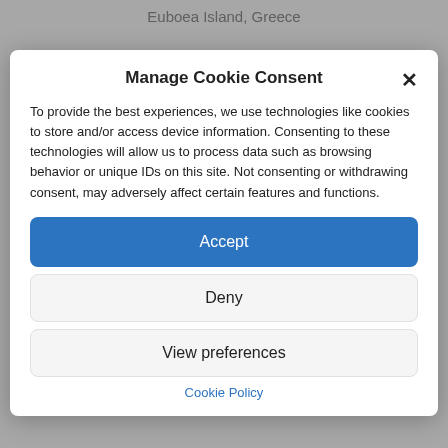Euboea Island, Greece
Manage Cookie Consent
To provide the best experiences, we use technologies like cookies to store and/or access device information. Consenting to these technologies will allow us to process data such as browsing behavior or unique IDs on this site. Not consenting or withdrawing consent, may adversely affect certain features and functions.
Accept
Deny
View preferences
Cookie Policy